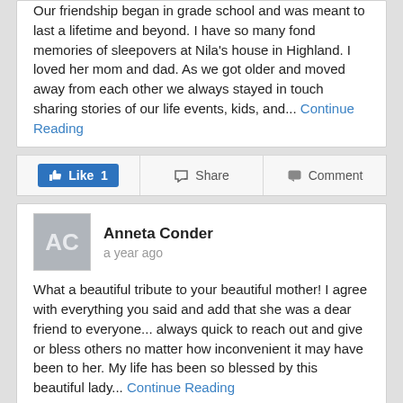Our friendship began in grade school and was meant to last a lifetime and beyond. I have so many fond memories of sleepovers at Nila's house in Highland. I loved her mom and dad. As we got older and moved away from each other we always stayed in touch sharing stories of our life events, kids, and... Continue Reading
Like 1 | Share | Comment
Anneta Conder
a year ago
What a beautiful tribute to your beautiful mother! I agree with everything you said and add that she was a dear friend to everyone... always quick to reach out and give or bless others no matter how inconvenient it may have been to her. My life has been so blessed by this beautiful lady... Continue Reading
Like 1 | Share | Comment